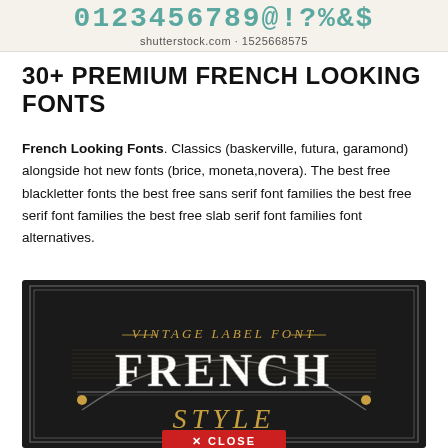0123456789@!?%&$ shutterstock.com · 1525668575
30+ PREMIUM FRENCH LOOKING FONTS
French Looking Fonts. Classics (baskerville, futura, garamond) alongside hot new fonts (brice, moneta,novera). The best free blackletter fonts the best free sans serif font families the best free serif font families the best free slab serif font families font alternatives.
[Figure (illustration): Dark vintage label font promotional image showing 'VINTAGE LABEL FONT FRENCH STYLE' in ornate decorative typography on a black background with gold and white lettering, with a red CLOSE button overlaid at the bottom.]